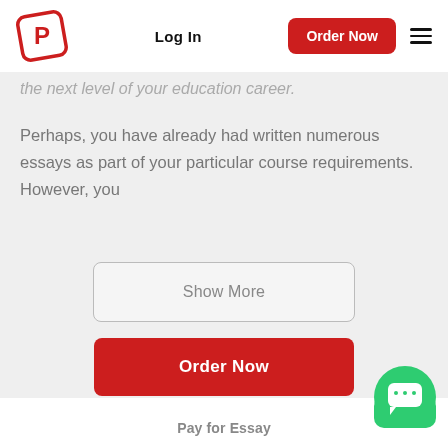[Figure (logo): PaperHelp logo — red square rotated slightly with white letter P inside]
Log In
Order Now
the next level of your education career.
Perhaps, you have already had written numerous essays as part of your particular course requirements. However, you
Show More
Order Now
[Figure (illustration): Green chat bubble icon with speech bubble symbol]
Pay for Essay